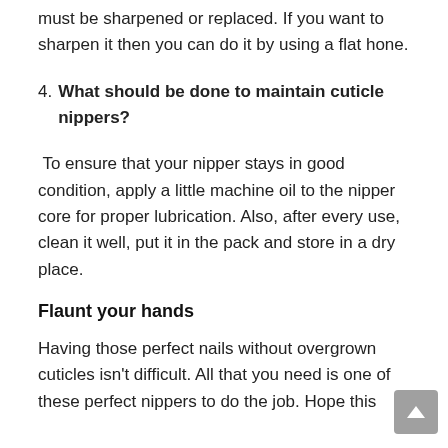must be sharpened or replaced. If you want to sharpen it then you can do it by using a flat hone.
4. What should be done to maintain cuticle nippers?
To ensure that your nipper stays in good condition, apply a little machine oil to the nipper core for proper lubrication. Also, after every use, clean it well, put it in the pack and store in a dry place.
Flaunt your hands
Having those perfect nails without overgrown cuticles isn't difficult. All that you need is one of these perfect nippers to do the job. Hope this